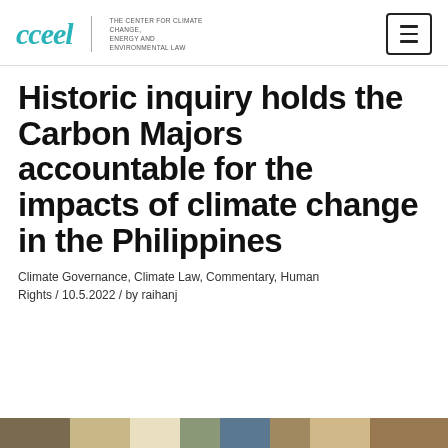cceel | THE CENTER FOR CLIMATE CHANGE, ENERGY AND ENVIRONMENTAL LAW
Historic inquiry holds the Carbon Majors accountable for the impacts of climate change in the Philippines
Climate Governance, Climate Law, Commentary, Human Rights / 10.5.2022 / by raihanj
[Figure (photo): Partial view of a photograph at the bottom of the page, showing an outdoor scene]